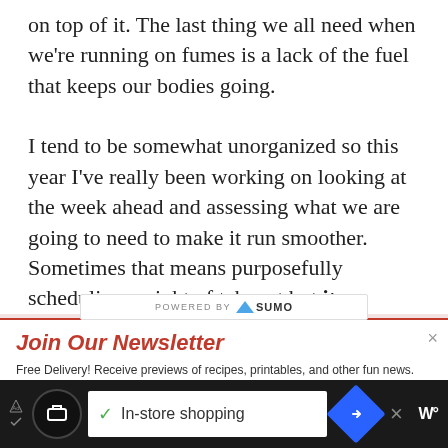on top of it. The last thing we all need when we're running on fumes is a lack of the fuel that keeps our bodies going.

I tend to be somewhat unorganized so this year I've really been working on looking at the week ahead and assessing what we are going to need to make it run smoother. Sometimes that means purposefully scheduling a night of takeout but it
[Figure (screenshot): POWERED BY SUMO branded bar overlaying the article text]
Join Our Newsletter
Free Delivery! Receive previews of recipes, printables, and other fun news.
Enter your email address
[Figure (screenshot): Advertisement bar at bottom: In-store shopping ad with icons and close button]